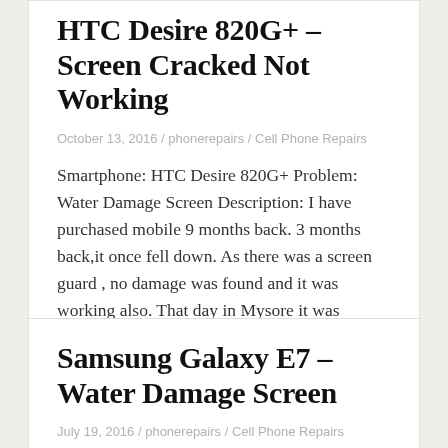HTC Desire 820G+ – Screen Cracked Not Working
October 13, 2016 / phonerepairs / Cell Phone Repairs
Smartphone: HTC Desire 820G+ Problem: Water Damage Screen Description: I have purchased mobile 9 months back. 3 months back,it once fell down. As there was a screen guard , no damage was found and it was working also. That day in Mysore it was raining. My bag got wet. After that mobile stopped working . [...]
Samsung Galaxy E7 – Water Damage Screen
July 19, 2016 / phonerepairs / Cell Phone Repairs